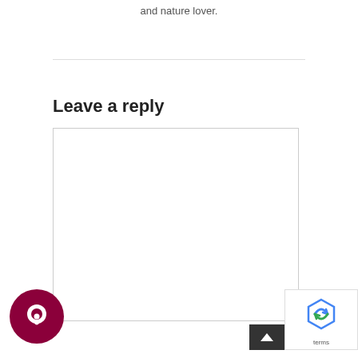and nature lover.
Leave a reply
[Figure (screenshot): Empty comment textarea box with resize handle]
[Figure (logo): Dark red circular chat/comment button icon]
[Figure (screenshot): reCAPTCHA widget overlay in bottom right corner with terms text]